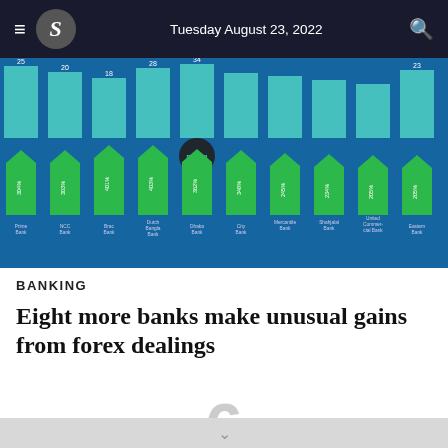Tuesday August 23, 2022
[Figure (bar-chart): Grouped bar chart showing forex gain percentages for multiple Bangladeshi banks, with teal/blue bars for one metric and green arrow-shaped bars for gain percentages]
BANKING
Eight more banks make unusual gains from forex dealings